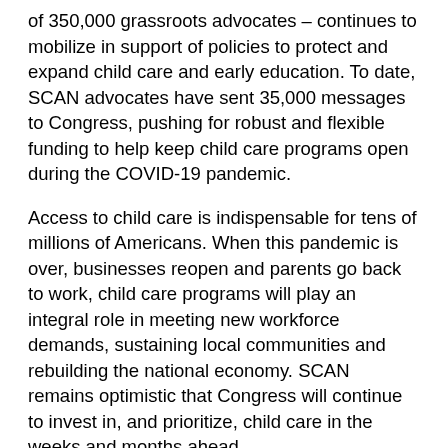of 350,000 grassroots advocates – continues to mobilize in support of policies to protect and expand child care and early education. To date, SCAN advocates have sent 35,000 messages to Congress, pushing for robust and flexible funding to help keep child care programs open during the COVID-19 pandemic.
Access to child care is indispensable for tens of millions of Americans. When this pandemic is over, businesses reopen and parents go back to work, child care programs will play an integral role in meeting new workforce demands, sustaining local communities and rebuilding the national economy. SCAN remains optimistic that Congress will continue to invest in, and prioritize, child care in the weeks and months ahead.